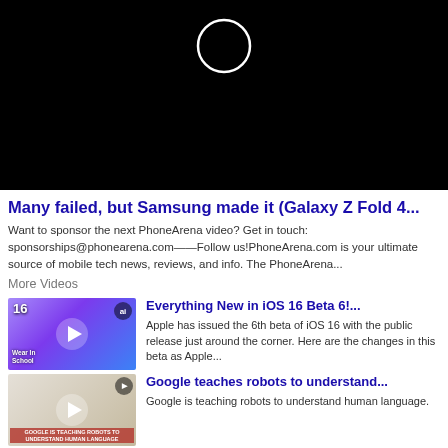[Figure (screenshot): Black video player background with a white circle/loading spinner centered at top]
Many failed, but Samsung made it (Galaxy Z Fold 4...
Want to sponsor the next PhoneArena video? Get in touch: sponsorships@phonearena.com——Follow us!PhoneArena.com is your ultimate source of mobile tech news, reviews, and info. The PhoneArena...
More Videos
[Figure (screenshot): Thumbnail for iOS 16 Beta 6 video showing an iPhone with iOS 16 icon]
Everything New in iOS 16 Beta 6!...
Apple has issued the 6th beta of iOS 16 with the public release just around the corner. Here are the changes in this beta as Apple...
[Figure (screenshot): Thumbnail for Google robots video showing Google logo on a wall]
Google teaches robots to understand...
Google is teaching robots to understand human language.
[Figure (screenshot): Thumbnail for Samsung Galaxy A53 5G video showing white phone]
Samsung Galaxy A53 5G | tl;dr